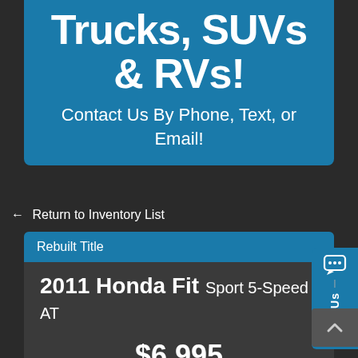Trucks, SUVs & RVs!
Contact Us By Phone, Text, or Email!
← Return to Inventory List
Rebuilt Title
2011 Honda Fit Sport 5-Speed AT
$6,995